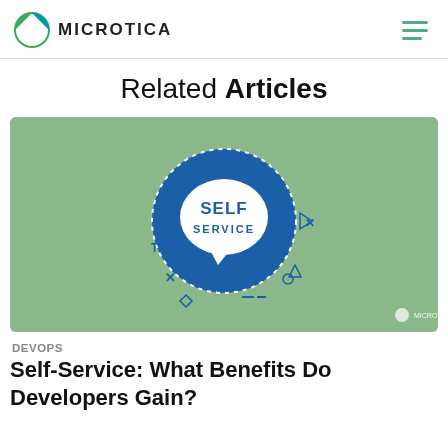MICROTICA
Related Articles
[Figure (illustration): Green background illustration with a blue circle containing a white speech bubble with text SELF SERVICE, surrounded by small geometric icons (triangles, circles, arrows) on a sage green background. Microtica logo watermark in bottom right.]
DEVOPS
Self-Service: What Benefits Do Developers Gain?